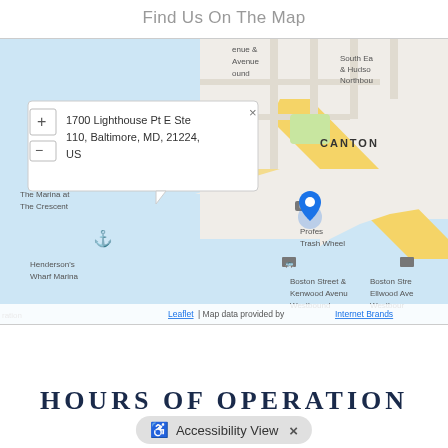Find Us On The Map
[Figure (map): Interactive Leaflet map showing location at 1700 Lighthouse Pt E Ste 110, Baltimore, MD, 21224, US. Map shows Canton neighborhood area near Boston Street and harbor. A blue location pin marks the business. A popup shows the address. Map credits: Leaflet | Map data provided by Internet Brands.]
HOURS OF OPERATION
Accessibility View